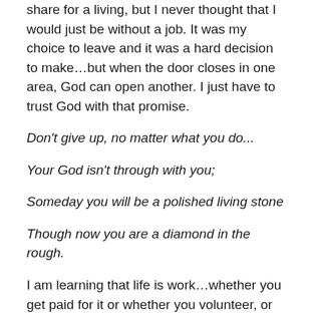share for a living, but I never thought that I would just be without a job. It was my choice to leave and it was a hard decision to make…but when the door closes in one area, God can open another. I just have to trust God with that promise.
Don't give up, no matter what you do...
Your God isn't through with you;
Someday you will be a polished living stone
Though now you are a diamond in the rough.
I am learning that life is work…whether you get paid for it or whether you volunteer, or how you spend your time otherwise. Friend and family relationships take work. Maintaining a healthy diet and exercise takes work. Learning anything takes work, learning from giving...